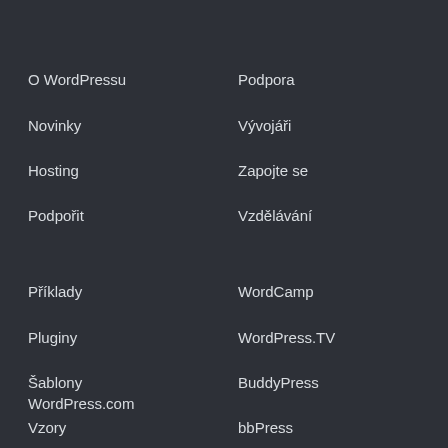O WordPressu
Novinky
Hosting
Podpořit
Podpora
Vývojáři
Zapojte se
Vzdělávání
Příklady
Pluginy
Šablony
Vzory
WordCamp
WordPress.TV
BuddyPress
bbPress
WordPress.com